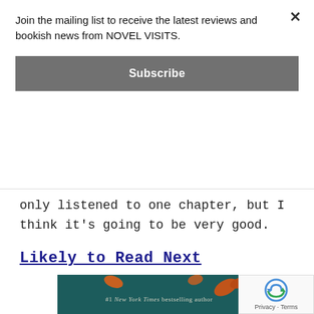Join the mailing list to receive the latest reviews and bookish news from NOVEL VISITS.
Subscribe
only listened to one chapter, but I think it's going to be very good.
Likely to Read Next
[Figure (photo): Book cover for an Elizabeth Strout novel. Dark teal background with autumn leaves, large italic script reading 'Elizabeth' in cream/white and 'Strout' in yellow. Top reads '#1 New York Times bestselling author'.]